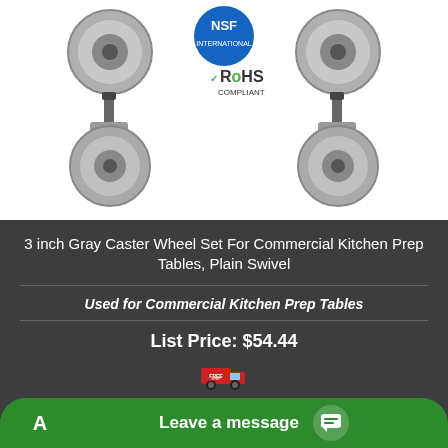[Figure (photo): Four gray caster wheels for commercial kitchen prep tables arranged in a 2x2 grid. Center shows NSF blue circular logo and RoHS Compliant logo with green checkmark. Wheels have gray rubber tires with chrome/metal swivel stems.]
3 inch Gray Caster Wheel Set For Commercial Kitchen Prep Tables, Plain Swivel
Used for Commercial Kitchen Prep Tables
List Price: $54.44
[Figure (logo): Free shipping truck icon - red truck with 'FREE SHIP' text]
Leave a message